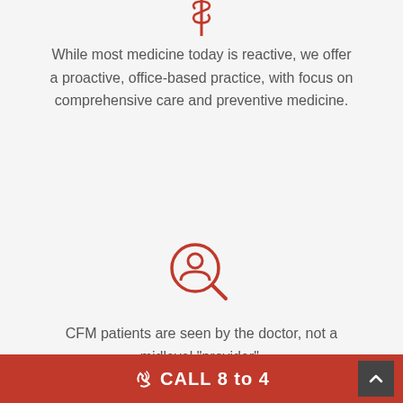[Figure (illustration): Red caduceus/medical dollar sign icon at top, partially cropped]
While most medicine today is reactive, we offer a proactive, office-based practice, with focus on comprehensive care and preventive medicine.
[Figure (illustration): Red circular icon showing a person with a magnifying glass (patient search / doctor icon)]
CFM patients are seen by the doctor, not a midlevel "provider".
CALL 8 to 4